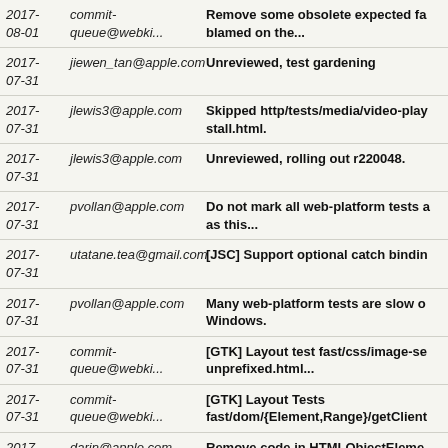2017-08-01 | commit-queue@webki... | Remove some obsolete expected fa blamed on the...
2017-07-31 | jiewen_tan@apple.com | Unreviewed, test gardening
2017-07-31 | jlewis3@apple.com | Skipped http/tests/media/video-play stall.html.
2017-07-31 | jlewis3@apple.com | Unreviewed, rolling out r220048.
2017-07-31 | pvollan@apple.com | Do not mark all web-platform tests a as this...
2017-07-31 | utatane.tea@gmail.com | [JSC] Support optional catch bindin
2017-07-31 | pvollan@apple.com | Many web-platform tests are slow o Windows.
2017-07-31 | commit-queue@webki... | [GTK] Layout test fast/css/image-se unprefixed.html...
2017-07-31 | commit-queue@webki... | [GTK] Layout Tests fast/dom/{Element,Range}/getClient
2017-07-30 | darin@apple.com | Remove code in HTMLObjectEleme attribute parsing...
2017- | weinig@apple.com | [WebIDL] Remove JS builtin bindin